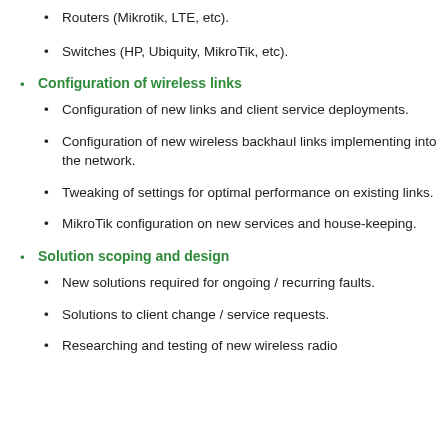Routers (Mikrotik, LTE, etc).
Switches (HP, Ubiquity, MikroTik, etc).
Configuration of wireless links
Configuration of new links and client service deployments.
Configuration of new wireless backhaul links implementing into the network.
Tweaking of settings for optimal performance on existing links.
MikroTik configuration on new services and house-keeping.
Solution scoping and design
New solutions required for ongoing / recurring faults.
Solutions to client change / service requests.
Researching and testing of new wireless radio